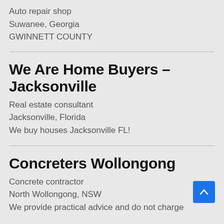Auto repair shop
Suwanee, Georgia
GWINNETT COUNTY
We Are Home Buyers – Jacksonville
Real estate consultant
Jacksonville, Florida
We buy houses Jacksonville FL!
Concreters Wollongong
Concrete contractor
North Wollongong, NSW
We provide practical advice and do not charge